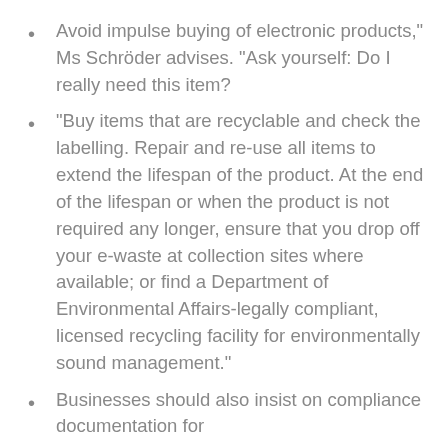Avoid impulse buying of electronic products," Ms Schröder advises. "Ask yourself: Do I really need this item?
"Buy items that are recyclable and check the labelling. Repair and re-use all items to extend the lifespan of the product. At the end of the lifespan or when the product is not required any longer, ensure that you drop off your e-waste at collection sites where available; or find a Department of Environmental Affairs-legally compliant, licensed recycling facility for environmentally sound management."
Businesses should also insist on compliance documentation for